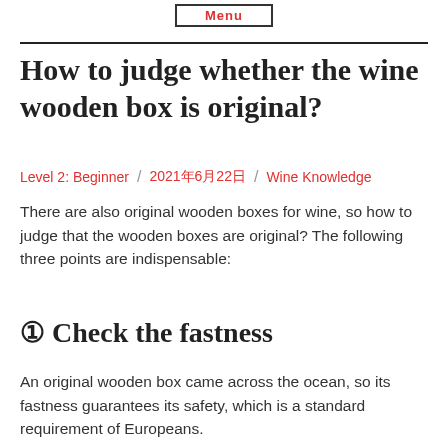Menu
How to judge whether the wine wooden box is original?
Level 2: Beginner / 2021年6月22日 / Wine Knowledge
There are also original wooden boxes for wine, so how to judge that the wooden boxes are original? The following three points are indispensable:
① Check the fastness
An original wooden box came across the ocean, so its fastness guarantees its safety, which is a standard requirement of Europeans.